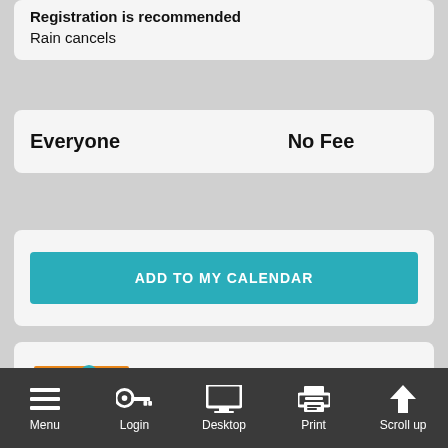Registration is recommended
Rain cancels
Everyone    No Fee
ADD TO MY CALENDAR
[Figure (logo): Healthier Aging logo with teal figure and orange rectangle background, text reading HEALTHIER AGING]
Menu  Login  Desktop  Print  Scroll up